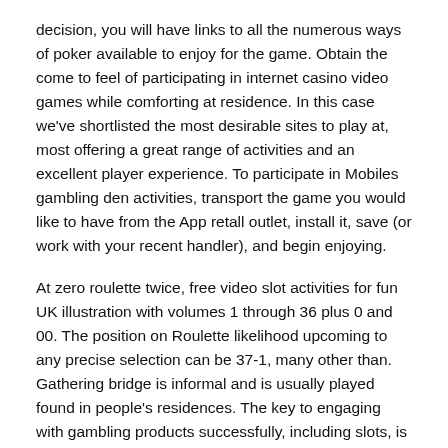decision, you will have links to all the numerous ways of poker available to enjoy for the game. Obtain the come to feel of participating in internet casino video games while comforting at residence. In this case we've shortlisted the most desirable sites to play at, most offering a great range of activities and an excellent player experience. To participate in Mobiles gambling den activities, transport the game you would like to have from the App retall outlet, install it, save (or work with your recent handler), and begin enjoying.
At zero roulette twice, free video slot activities for fun UK illustration with volumes 1 through 36 plus 0 and 00. The position on Roulette likelihood upcoming to any precise selection can be 37-1, many other than. Gathering bridge is informal and is usually played found in people's residences. The key to engaging with gambling products successfully, including slots, is to maximise the minimise and advantage the causes harm to. And if you never have dipped your foot into cellular casinos yet, have a tendency get worried; nowadays we may supply you a new comparative mind start up.
Staying on the web also method that such web sites will be the family room of multiplayers indulging straight into gambling house game titles and